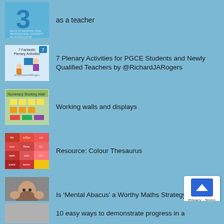as a teacher
7 Plenary Activities for PGCE Students and Newly Qualified Teachers by @RichardJARogers
Working walls and displays
Resource: Colour Thesaurus
Is ‘Mental Abacus’ a Worthy Maths Strategy?
10 easy ways to demonstrate progress in a